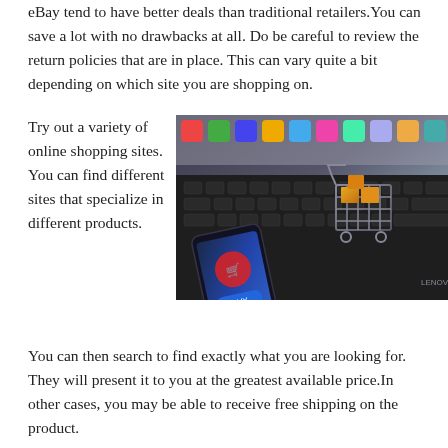eBay tend to have better deals than traditional retailers.You can save a lot with no drawbacks at all. Do be careful to review the return policies that are in place. This can vary quite a bit depending on which site you are shopping on.
Try out a variety of online shopping sites. You can find different sites that specialize in different products. You can then search to find exactly what you are looking for. They will present it to you at the greatest available price.In other cases, you may be able to receive free shipping on the product.
[Figure (photo): A miniature shopping cart filled with small boxes sitting on a laptop keyboard, with a smartphone beside it showing a shopping app interface, in the background colorful app icons are visible.]